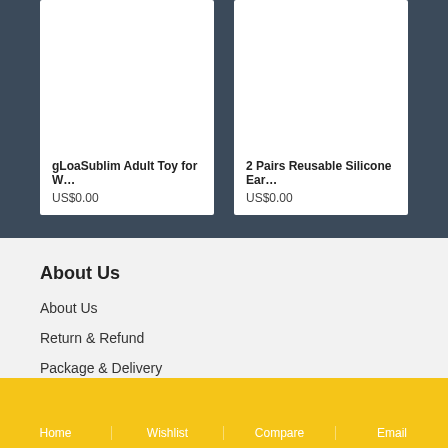gLoaSublim Adult Toy for W…
US$0.00
2 Pairs Reusable Silicone Ear…
US$0.00
About Us
About Us
Return & Refund
Package & Delivery
Privacy Policy
Terms & Conditions
Become Affiliate
Home    Wishlist    Compare    Email